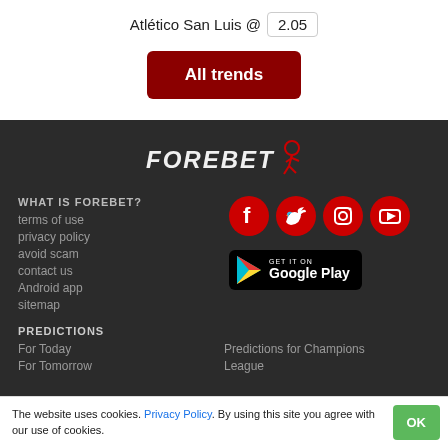Atlético San Luis @ 2.05
All trends
[Figure (logo): FOREBET logo with stylized runner icon in red]
WHAT IS FOREBET?
terms of use
privacy policy
avoid scam
contact us
Android app
sitemap
[Figure (infographic): Social media icons: Facebook, Twitter, Instagram, YouTube — all red circles]
[Figure (infographic): GET IT ON Google Play badge]
PREDICTIONS
For Today
For Tomorrow
Predictions for Champions League
The website uses cookies. Privacy Policy. By using this site you agree with our use of cookies.
OK